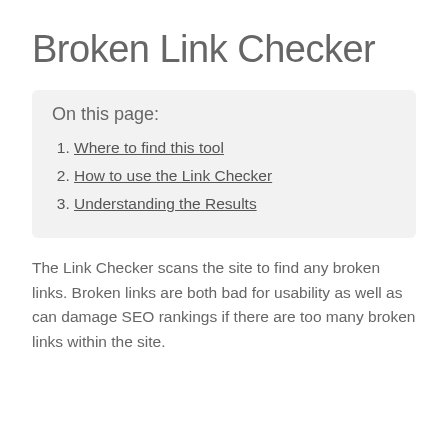Broken Link Checker
On this page:
Where to find this tool
How to use the Link Checker
Understanding the Results
The Link Checker scans the site to find any broken links. Broken links are both bad for usability as well as can damage SEO rankings if there are too many broken links within the site.